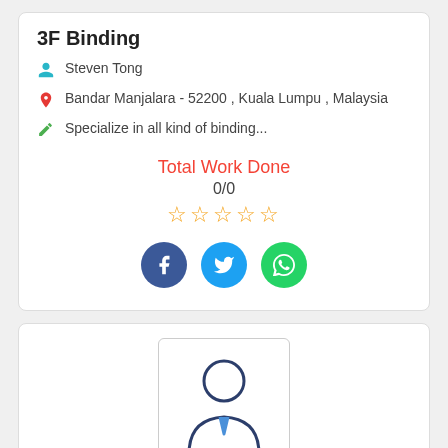3F Binding
Steven Tong
Bandar Manjalara - 52200 , Kuala Lumpu , Malaysia
Specialize in all kind of binding...
Total Work Done
0/0
[Figure (other): Five empty gold star rating icons]
[Figure (other): Social media icons: Facebook (dark blue circle with f), Twitter (light blue circle with bird), WhatsApp (green circle with phone)]
[Figure (other): Generic user/avatar placeholder icon inside a rounded rectangle border]
Cake Technology